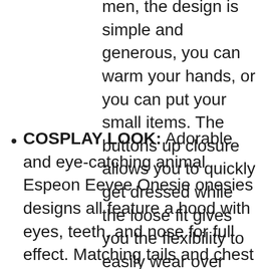men, the design is simple and generous, you can warm your hands, or you can put your small items. The buttons up closure allows you to quickly get dressed while the loose fit gives you the flexibility to easily wear over your existing clothes or jacket.
COSPLAY LOOK: Adorable and eye-catching animal Espeon Eevee Onesie onesies designs all feature a hood with eyes, teeth, and nose for full effect. Matching tails and chest designs help complete your ultimate cosplay look. The choice of fun animal skin all over prints with character ears in vibrant colors will spark a smile on your face and are also great PJ'S party.